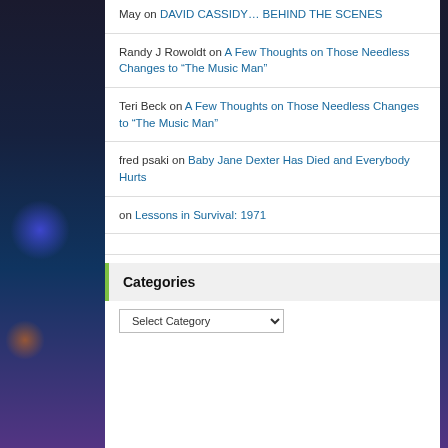May on DAVID CASSIDY… BEHIND THE SCENES
Randy J Rowoldt on A Few Thoughts on Those Needless Changes to “The Music Man”
Teri Beck on A Few Thoughts on Those Needless Changes to “The Music Man”
fred psaki on Baby Jane Dexter Has Died and Everybody Hurts
on Lessons in Survival: 1971
Categories
Select Category